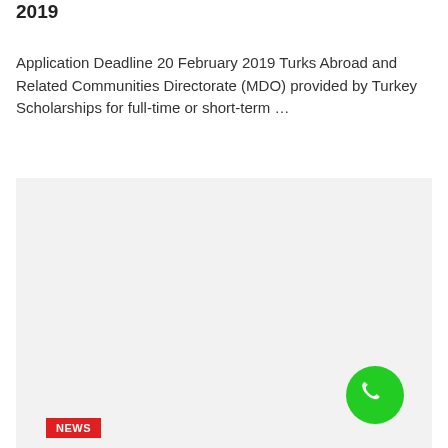2019
Application Deadline 20 February 2019 Turks Abroad and Related Communities Directorate (MDO) provided by Turkey Scholarships for full-time or short-term …
[Figure (other): Light gray placeholder image block with a NEWS badge in red at the bottom left and a green phone/call button at the bottom right]